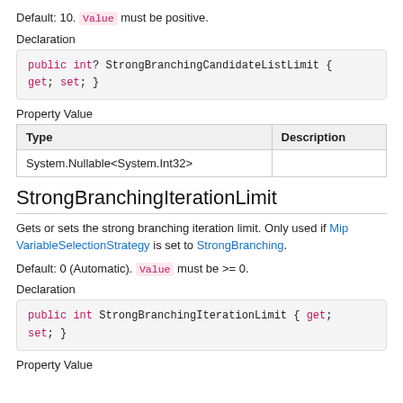Default: 10. Value must be positive.
Declaration
public int? StrongBranchingCandidateListLimit { get; set; }
Property Value
| Type | Description |
| --- | --- |
| System.Nullable<System.Int32> |  |
StrongBranchingIterationLimit
Gets or sets the strong branching iteration limit. Only used if MipVariableSelectionStrategy is set to StrongBranching.
Default: 0 (Automatic). Value must be >= 0.
Declaration
public int StrongBranchingIterationLimit { get; set; }
Property Value